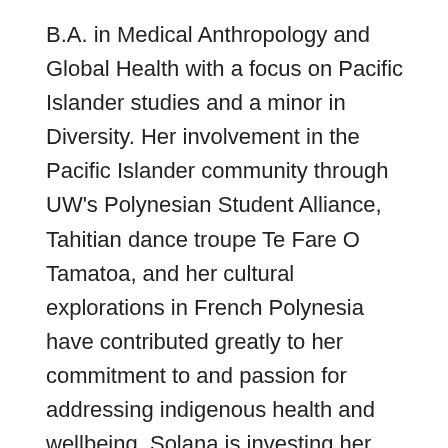B.A. in Medical Anthropology and Global Health with a focus on Pacific Islander studies and a minor in Diversity. Her involvement in the Pacific Islander community through UW's Polynesian Student Alliance, Tahitian dance troupe Te Fare O Tamatoa, and her cultural explorations in French Polynesia have contributed greatly to her commitment to and passion for addressing indigenous health and wellbeing. Solana is investing her personal and academic endeavors in researching the current use of traditional medicine and practices in Oceania and the role they play in cultural retention and revitalization.